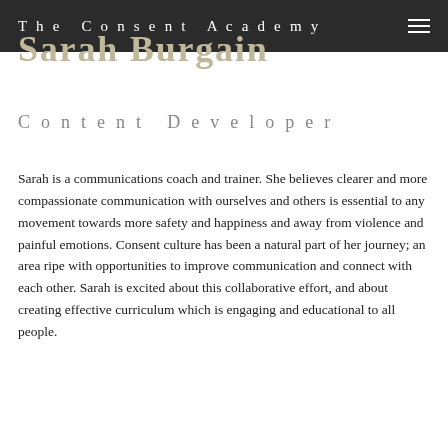The Consent Academy
Sarah Burgain
Content Developer
Sarah is a communications coach and trainer. She believes clearer and more compassionate communication with ourselves and others is essential to any movement towards more safety and happiness and away from violence and painful emotions. Consent culture has been a natural part of her journey; an area ripe with opportunities to improve communication and connect with each other. Sarah is excited about this collaborative effort, and about creating effective curriculum which is engaging and educational to all people.